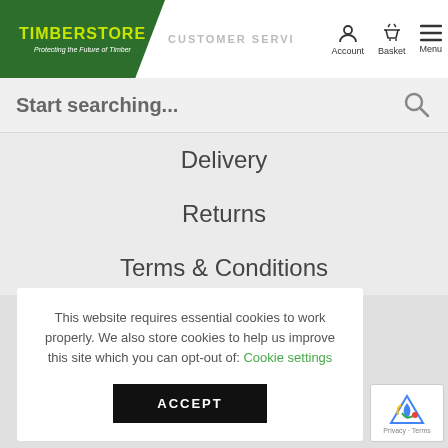[Figure (logo): Timberstore logo - green background with yellow TIMBERSTORE text and white italic subtitle 'Protecting the Future of Timber']
CUSTOMER SERVICE  Account  Basket  Menu
Start searching...
Delivery
Returns
Terms & Conditions
This website requires essential cookies to work properly. We also store cookies to help us improve this site which you can opt-out of: Cookie settings
ACCEPT